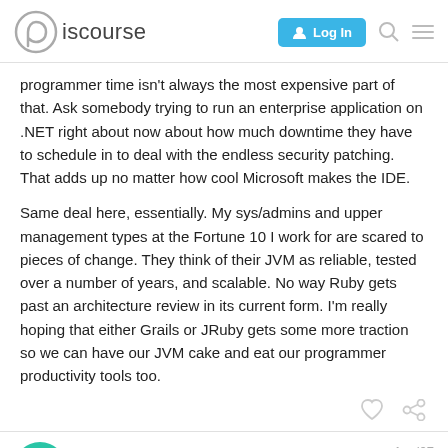Discourse — Log In
programmer time isn't always the most expensive part of that. Ask somebody trying to run an enterprise application on .NET right about now about how much downtime they have to schedule in to deal with the endless security patching. That adds up no matter how cool Microsoft makes the IDE.
Same deal here, essentially. My sys/admins and upper management types at the Fortune 10 I work for are scared to pieces of change. They think of their JVM as reliable, tested over a number of years, and scalable. No way Ruby gets past an architecture review in its current form. I'm really hoping that either Grails or JRuby gets some more traction so we can have our JVM cake and eat our programmer productivity tools too.
AyendeR   Apr '07   3 / 69